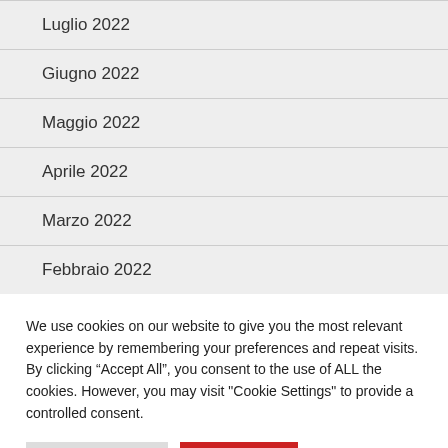Luglio 2022
Giugno 2022
Maggio 2022
Aprile 2022
Marzo 2022
Febbraio 2022
We use cookies on our website to give you the most relevant experience by remembering your preferences and repeat visits. By clicking “Accept All”, you consent to the use of ALL the cookies. However, you may visit "Cookie Settings" to provide a controlled consent.
Cookie Settings | Accept All